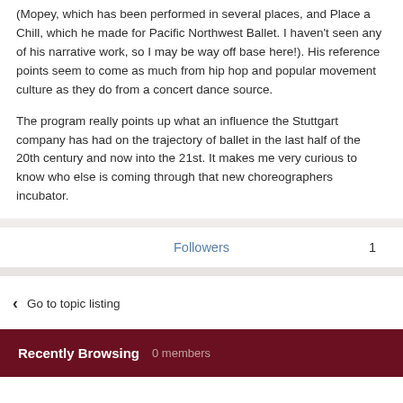(Mopey, which has been performed in several places, and Place a Chill, which he made for Pacific Northwest Ballet. I haven't seen any of his narrative work, so I may be way off base here!). His reference points seem to come as much from hip hop and popular movement culture as they do from a concert dance source.

The program really points up what an influence the Stuttgart company has had on the trajectory of ballet in the last half of the 20th century and now into the 21st. It makes me very curious to know who else is coming through that new choreographers incubator.
Followers  1
Go to topic listing
Recently Browsing   0 members